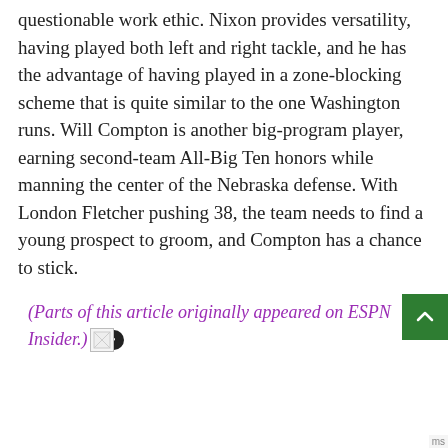questionable work ethic. Nixon provides versatility, having played both left and right tackle, and he has the advantage of having played in a zone-blocking scheme that is quite similar to the one Washington runs. Will Compton is another big-program player, earning second-team All-Big Ten honors while manning the center of the Nebraska defense. With London Fletcher pushing 38, the team needs to find a young prospect to groom, and Compton has a chance to stick.
(Parts of this article originally appeared on ESPN Insider.)
[Figure (other): Broken image placeholder icon]